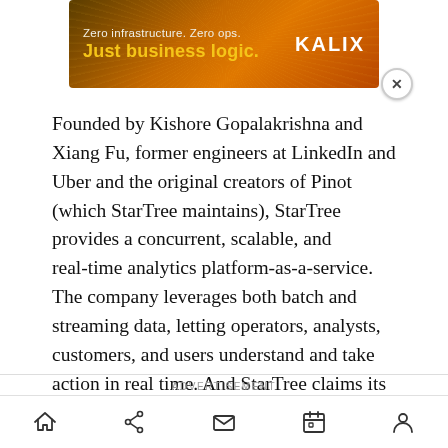[Figure (other): Advertisement banner for KALIX: 'Zero infrastructure. Zero ops. Just business logic.' with orange gradient background and KALIX logo in white.]
Founded by Kishore Gopalakrishna and Xiang Fu, former engineers at LinkedIn and Uber and the original creators of Pinot (which StarTree maintains), StarTree provides a concurrent, scalable, and real-time analytics platform-as-a-service. The company leverages both batch and streaming data, letting operators, analysts, customers, and users understand and take action in real time. And StarTree claims its products can scale from thousands to millions of users with low latency.
ADVERTISEMENT